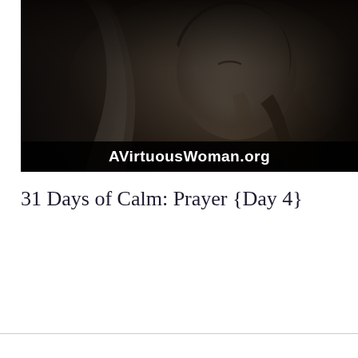[Figure (photo): Black and white photograph of a woman praying with her hands clasped and head bowed, with a watermark bar at the bottom reading AVirtuousWoman.org]
31 Days of Calm: Prayer {Day 4}